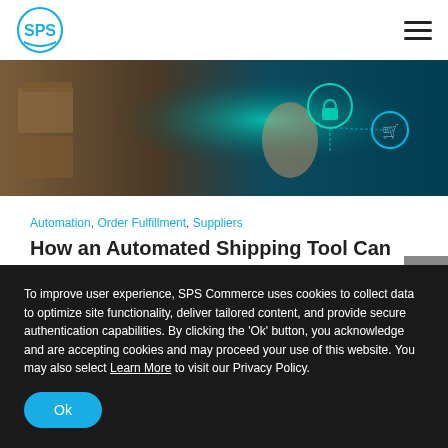SPS Commerce logo and navigation
[Figure (photo): A person's hand touching glowing digital icons including a lock and shopping cart symbol, with warehouse boxes visible in the background. Dark teal/blue tones.]
Automation, Order Fulfillment, Suppliers
How an Automated Shipping Tool Can Help Solve Today's Order ...
To improve user experience, SPS Commerce uses cookies to collect data to optimize site functionality, deliver tailored content, and provide secure authentication capabilities. By clicking the 'Ok' button, you acknowledge and are accepting cookies and may proceed your use of this website. You may also select Learn More to visit our Privacy Policy.